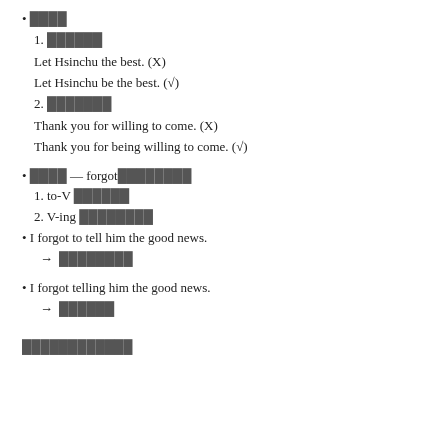• ████
1. ██████
Let Hsinchu the best. (X)
Let Hsinchu be the best. (√)
2. ███████
Thank you for willing to come. (X)
Thank you for being willing to come. (√)
• ████ — forgot████████
1. to-V ██████
2. V-ing ████████
• I forgot to tell him the good news.
→ ████████
• I forgot telling him the good news.
→ ██████
████████████